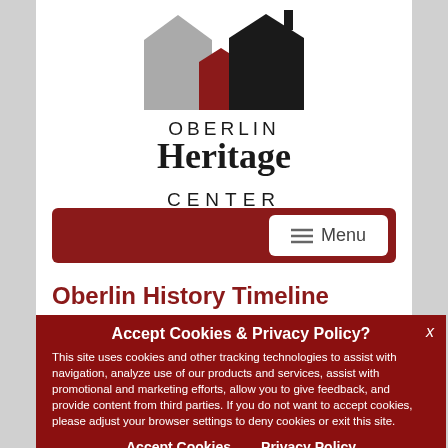[Figure (logo): Oberlin Heritage Center logo: silhouette of buildings in grey, red, and black above the text OBERLIN Heritage CENTER]
[Figure (screenshot): Dark red navigation bar with a white Menu button containing hamburger icon]
Oberlin History Timeline
Accept Cookies & Privacy Policy?
This site uses cookies and other tracking technologies to assist with navigation, analyze use of our products and services, assist with promotional and marketing efforts, allow you to give feedback, and provide content from third parties. If you do not want to accept cookies, please adjust your browser settings to deny cookies or exit this site.
Accept Cookies   Privacy Policy